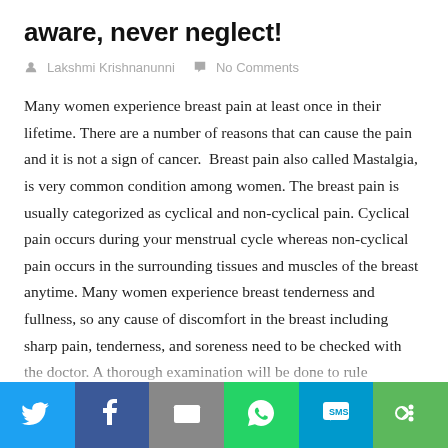aware, never neglect!
Lakshmi Krishnanunni   No Comments
Many women experience breast pain at least once in their lifetime. There are a number of reasons that can cause the pain and it is not a sign of cancer.  Breast pain also called Mastalgia, is very common condition among women. The breast pain is usually categorized as cyclical and non-cyclical pain. Cyclical pain occurs during your menstrual cycle whereas non-cyclical pain occurs in the surrounding tissues and muscles of the breast anytime. Many women experience breast tenderness and fullness, so any cause of discomfort in the breast including sharp pain, tenderness, and soreness need to be checked with the doctor. A thorough examination will be done to rule
[Figure (infographic): Social share bar with icons: Twitter (blue), Facebook (dark blue), Email (grey), WhatsApp (green), SMS (light blue), More (green)]